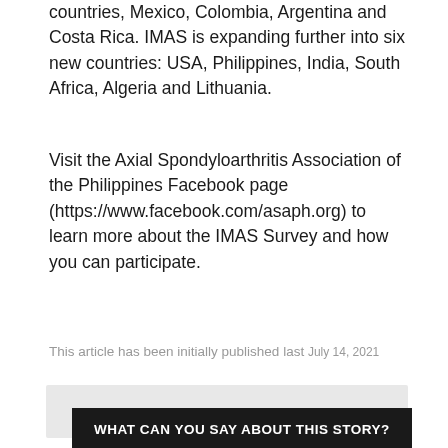countries, Mexico, Colombia, Argentina and Costa Rica. IMAS is expanding further into six new countries: USA, Philippines, India, South Africa, Algeria and Lithuania.
Visit the Axial Spondyloarthritis Association of the Philippines Facebook page (https://www.facebook.com/asaph.org) to learn more about the IMAS Survey and how you can participate.
This article has been initially published last July 14, 2021
WHAT CAN YOU SAY ABOUT THIS STORY?